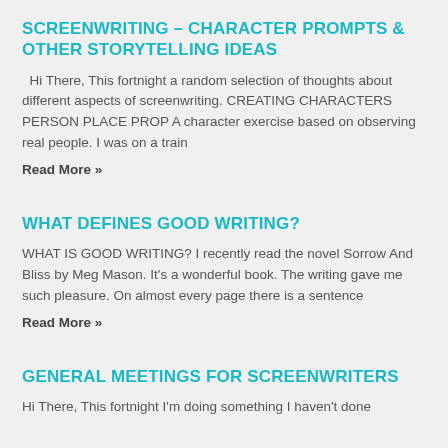SCREENWRITING – CHARACTER PROMPTS & OTHER STORYTELLING IDEAS
Hi There, This fortnight a random selection of thoughts about different aspects of screenwriting. CREATING CHARACTERS PERSON PLACE PROP A character exercise based on observing real people. I was on a train
Read More »
WHAT DEFINES GOOD WRITING?
WHAT IS GOOD WRITING? I recently read the novel Sorrow And Bliss by Meg Mason. It's a wonderful book. The writing gave me such pleasure. On almost every page there is a sentence
Read More »
GENERAL MEETINGS FOR SCREENWRITERS
Hi There, This fortnight I'm doing something I haven't done